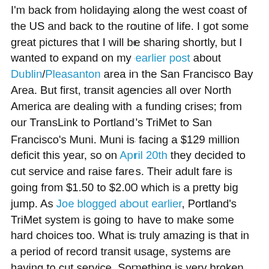I'm back from holidaying along the west coast of the US and back to the routine of life. I got some great pictures that I will be sharing shortly, but I wanted to expand on my earlier post about Dublin/Pleasanton area in the San Francisco Bay Area. But first, transit agencies all over North America are dealing with a funding crises; from our TransLink to Portland's TriMet to San Francisco's Muni. Muni is facing a $129 million deficit this year, so on April 20th they decided to cut service and raise fares. Their adult fare is going from $1.50 to $2.00 which is a pretty big jump. As Joe blogged about earlier, Portland's TriMet system is going to have to make some hard choices too. What is truly amazing is that in a period of record transit usage, systems are having to cut service. Something is very broken with the funding model for transit in North America.
Anyway, back to the Dublin/Pleasanton area in the East Bay. The communities have a combined population of about 110,588 and are about 52km from San Francisco. (Sounds a lot like Langley and Vancouver, eh?) It's even separated by about 10 minutes of green space and mountain. Anyway, they are currently served by one BART metro rapid transit station (internaly below) that opened in 1997...